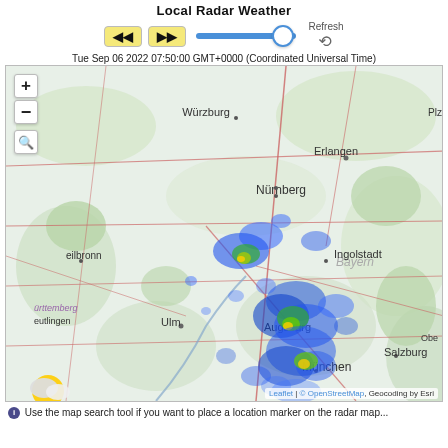Local Radar Weather
[Figure (screenshot): Radar weather map controls: back/forward navigation buttons (yellow), a slider with blue track and white thumb, and a Refresh label with circular arrow icon]
Tue Sep 06 2022 07:50:00 GMT+0000 (Coordinated Universal Time)
[Figure (map): Interactive Leaflet radar weather map showing southern Germany region including cities Würzburg, Erlangen, Nürnberg, Plz, Heilbronn, Württemberg, Reutlingen, Ulm, Bayern, Ingolstadt, Augsburg, München, Obe, Salzburg. Blue, green, and yellow radar precipitation overlays visible around Ingolstadt, Augsburg, and München. Map controls: + zoom in, - zoom out, and magnifying glass search button. Attribution: Leaflet | © OpenStreetMap, Geocoding by Esri. Partly cloudy weather icon bottom left.]
ℹ Use the map search tool if you want to place a location marker on the radar map...